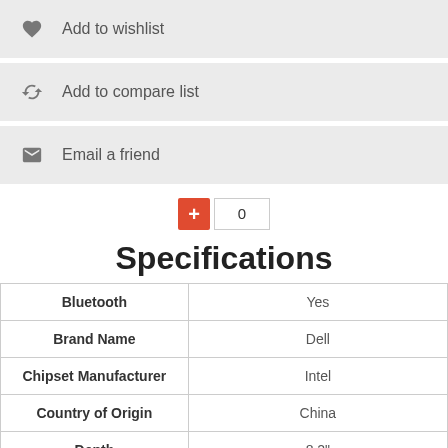Add to wishlist
Add to compare list
Email a friend
Specifications
|  |  |
| --- | --- |
| Bluetooth | Yes |
| Brand Name | Dell |
| Chipset Manufacturer | Intel |
| Country of Origin | China |
| Depth | 8.2" |
| Drive Type | SSD |
| Energy Star | Yes |